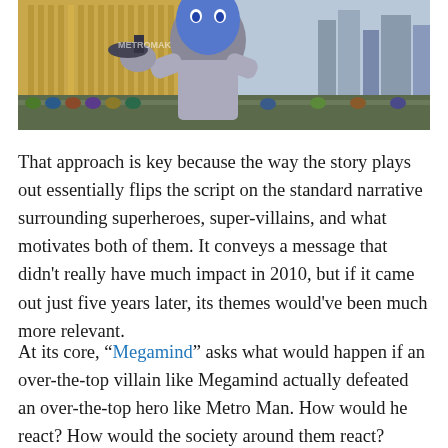[Figure (photo): Screenshot from the animated film Megamind showing the title character in a silver suit holding a hat, with a crowd in the background. A 'METROMAK' watermark is partially visible.]
That approach is key because the way the story plays out essentially flips the script on the standard narrative surrounding superheroes, super-villains, and what motivates both of them. It conveys a message that didn't really have much impact in 2010, but if it came out just five years later, its themes would've been much more relevant.
At its core, “Megamind” asks what would happen if an over-the-top villain like Megamind actually defeated an over-the-top hero like Metro Man. How would he react? How would the society around them react? These are